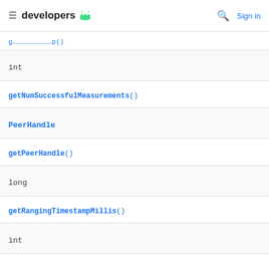developers [android icon] | Search | Sign in
g...p()
| Type | Method |
| --- | --- |
| int | getNumSuccessfulMeasurements() |
| PeerHandle | getPeerHandle() |
| long | getRangingTimestampMillis() |
| int |  |